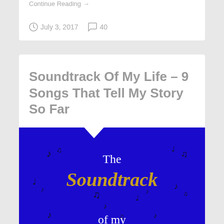Continue Reading →
July 3, 2017   40
Soundtrack Of My Life – 9 Songs That Tell My Story So Far
[Figure (illustration): Blue background image with scattered musical notes and text: 'The Soundtrack of my' in white and gold serif font]